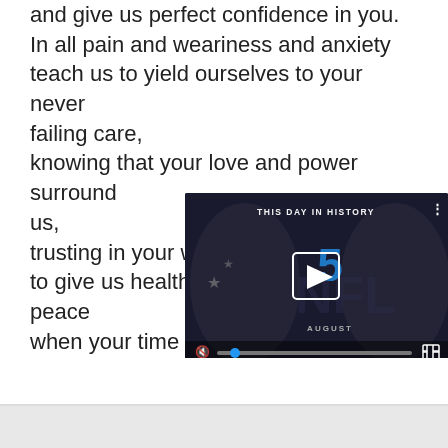and give us perfect confidence in you.
In all pain and weariness and anxiety
teach us to yield ourselves to your never failing care,
knowing that your love and power surround us,
trusting in your wisdom and providence
to give us health and strength and peace
when your time is best;
through Jesus Chr...
Amen.
[Figure (screenshot): A video player overlay showing 'THIS DAY IN HISTORY' with a play button, the number 5 in blue, 'AUGUST' text, video progress bar with mute icon and fullscreen icon, on a dark background with NFL imagery.]